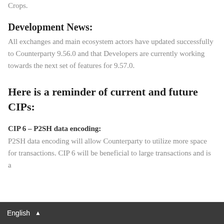…also featured is the Hard Fork Ether Pot and Bitcoin Crops.
Development News:
All exchanges and main ecosystem actors have updated successfully to Counterparty 9.56.0 and that Developers are currently working towards the next set of features for 9.57.0.
Here is a reminder of current and future CIPs:
CIP 6 – P2SH data encoding:
P2SH data encoding will allow Counterparty to utilize more space for transactions. CIP 6 will be beneficial to large transactions and is a
English